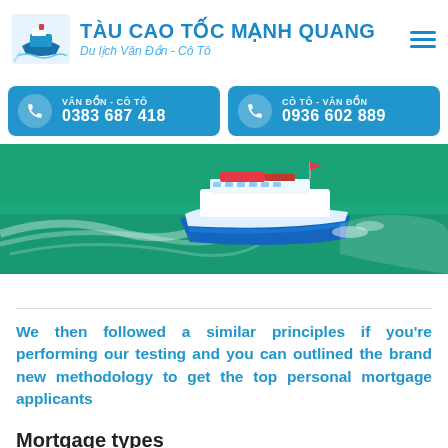TÀU CAO TỐC MẠNH QUANG
Du lịch Vân Đồn - Cô Tô
VÂN ĐỒN - CÔ TÔ
0383 687 418
CÔ TÔ - VÂN ĐỒN
0936 602 889
[Figure (photo): Aerial view of a high-speed ferry boat (blue and white) cruising on turquoise green sea water, leaving a white wake trail]
We then followed a similar principles if you're performing our testing and you can outlined the brand new methodology to get the top personal mortgage applicants
Mortgage types